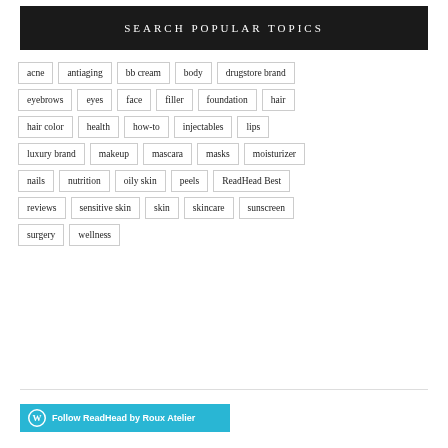SEARCH POPULAR TOPICS
acne
antiaging
bb cream
body
drugstore brand
eyebrows
eyes
face
filler
foundation
hair
hair color
health
how-to
injectables
lips
luxury brand
makeup
mascara
masks
moisturizer
nails
nutrition
oily skin
peels
ReadHead Best
reviews
sensitive skin
skin
skincare
sunscreen
surgery
wellness
Follow ReadHead by Roux Atelier